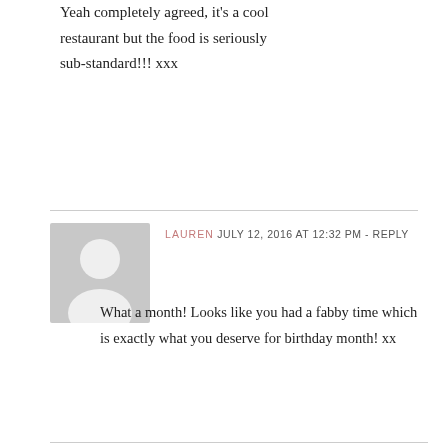Yeah completely agreed, it's a cool restaurant but the food is seriously sub-standard!!! xxx
LAUREN  JULY 12, 2016 AT 12:32 PM - REPLY
What a month! Looks like you had a fabby time which is exactly what you deserve for birthday month! xx
ANDREA  JULY 13, 2016 AT 8:22 AM - REPLY
Yes it was loooooovely 🙂 xxx